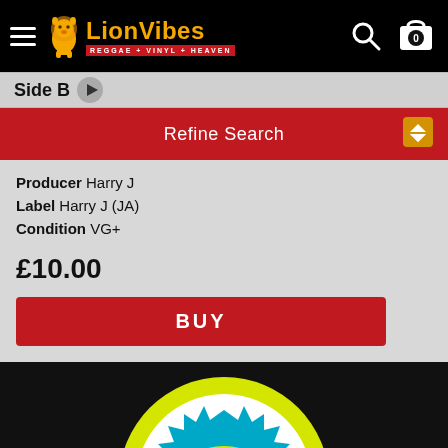LionVibes REGGAE + VINYL + HEAVEN
Side B
Refine Search
Producer Harry J
Label Harry J (JA)
Condition VG+
£10.00
BUY
[Figure (photo): Vinyl record label showing 'Harry J' text in green on a yellow and black background with a spiky star shape design]